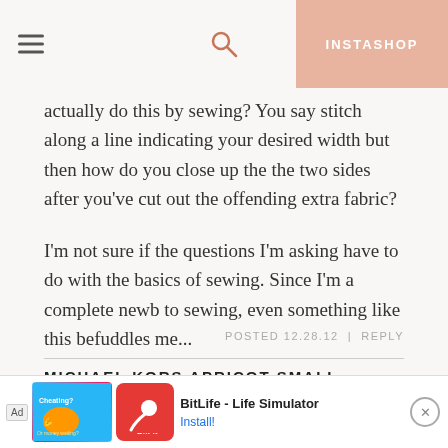INSTASHOP
actually do this by sewing? You say stitch along a line indicating your desired width but then how do you close up the the two sides after you've cut out the offending extra fabric?

I'm not sure if the questions I'm asking have to do with the basics of sewing. Since I'm a complete newb to sewing, even something like this befuddles me...

You make it look soooo easy!
POSTED 12.28.12  |  REPLY
MICHAEL KORS APRICOT SMALL MONOGRAM
SHOU...
The fe...
[Figure (screenshot): BitLife - Life Simulator advertisement banner with Ad label, game imagery, app name, and Install button]